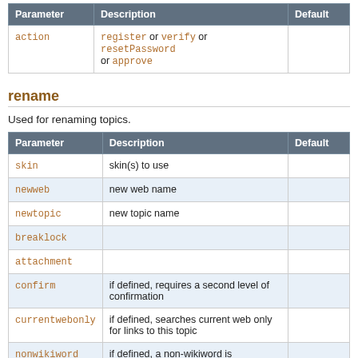| Parameter | Description | Default |
| --- | --- | --- |
| action | register or verify or resetPassword or approve |  |
rename
Used for renaming topics.
| Parameter | Description | Default |
| --- | --- | --- |
| skin | skin(s) to use |  |
| newweb | new web name |  |
| newtopic | new topic name |  |
| breaklock |  |  |
| attachment |  |  |
| confirm | if defined, requires a second level of confirmation |  |
| currentwebonly | if defined, searches current web only for links to this topic |  |
| nonwikiword | if defined, a non-wikiword is |  |